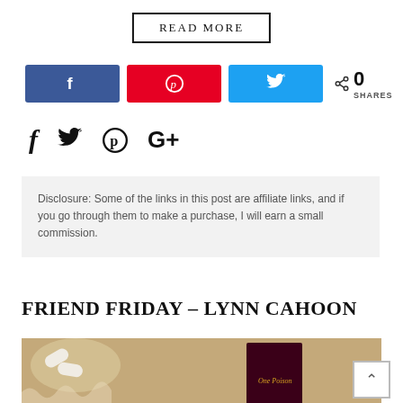READ MORE
[Figure (infographic): Social share buttons: Facebook (blue), Pinterest (red), Twitter (light blue), and share count showing 0 SHARES]
[Figure (infographic): Social media icon links: Facebook f, Twitter bird, Pinterest P, Google+ G+]
Disclosure: Some of the links in this post are affiliate links, and if you go through them to make a purchase, I will earn a small commission.
FRIEND FRIDAY – LYNN CAHOON
[Figure (photo): Book cover image of 'One Poison' on a tan/brown background with white pill-shaped objects]